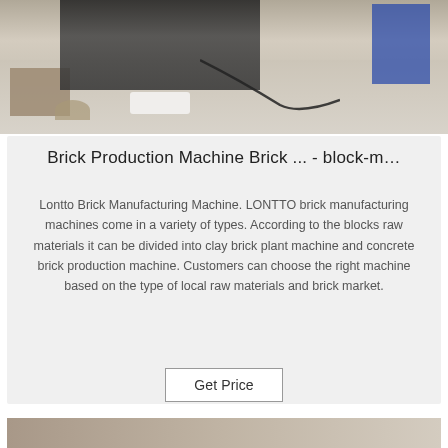[Figure (photo): A brick production machine being operated on a concrete floor, with stacked clay bricks visible on the left side, a sand/soil pile, and a blue control panel on the right. A cord/cable is visible running from the machine.]
Brick Production Machine Brick ... - block-m…
Lontto Brick Manufacturing Machine. LONTTO brick manufacturing machines come in a variety of types. According to the blocks raw materials it can be divided into clay brick plant machine and concrete brick production machine. Customers can choose the right machine based on the type of local raw materials and brick market.
Get Price
[Figure (photo): Partial view of another brick-related image at the bottom of the page, cropped.]